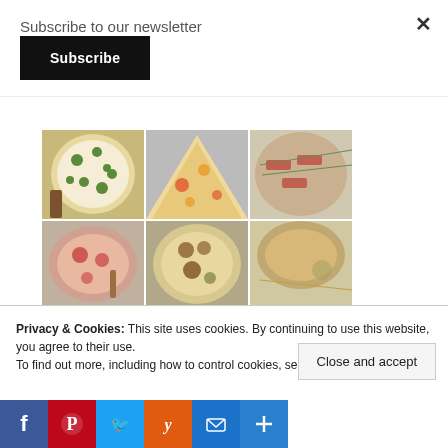Subscribe to our newsletter
Subscribe
[Figure (photo): Grid of 6 food photos showing various pizzas and dishes]
Privacy & Cookies: This site uses cookies. By continuing to use this website, you agree to their use.
To find out more, including how to control cookies, see here: Cookie Policy
Close and accept